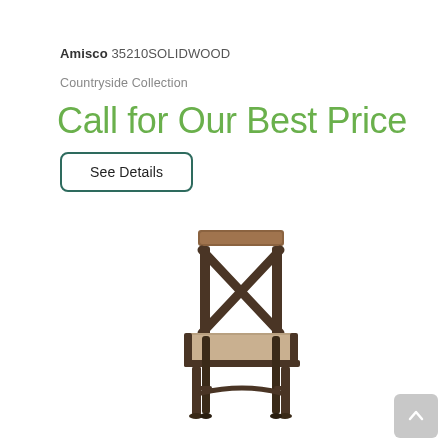Amisco 35210SOLIDWOOD
Countryside Collection
Call for Our Best Price
See Details
[Figure (photo): A dining chair with dark metal X-back frame, wooden top rail, and upholstered taupe/beige seat cushion with curved front stretcher.]